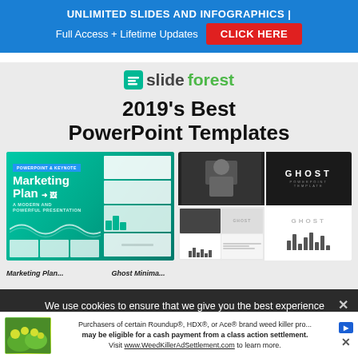[Figure (screenshot): Blue banner ad: 'UNLIMITED SLIDES AND INFOGRAPHICS | Full Access + Lifetime Updates' with red CLICK HERE button]
[Figure (screenshot): SlideForest website screenshot showing logo, '2019's Best PowerPoint Templates' heading, and two template thumbnails: Marketing Plan (green) and Ghost (black/white)]
We use cookies to ensure that we give you the best experience on our website. If you continue to use this site we will assume that you are happy with it.
[Figure (screenshot): Bottom ad banner: plant photo on left, text about Roundup/HDX/Ace weed killer class action settlement, visit WeedKillerAdSettlement.com]